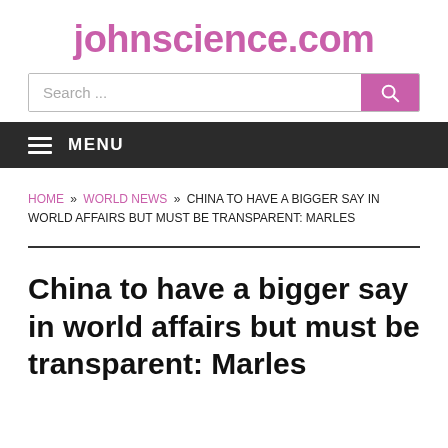johnscience.com
Search ...
MENU
HOME » WORLD NEWS » CHINA TO HAVE A BIGGER SAY IN WORLD AFFAIRS BUT MUST BE TRANSPARENT: MARLES
China to have a bigger say in world affairs but must be transparent: Marles